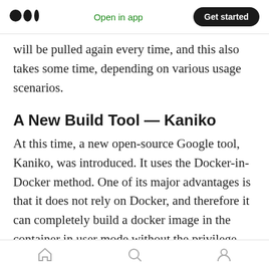Medium logo | Open in app | Get started
will be pulled again every time, and this also takes some time, depending on various usage scenarios.
A New Build Tool — Kaniko
At this time, a new open-source Google tool, Kaniko, was introduced. It uses the Docker-in-Docker method. One of its major advantages is that it does not rely on Docker, and therefore it can completely build a docker image in the container in user mode without the privilege permission. Run the Dockerfile command in user
Home | Search | Profile